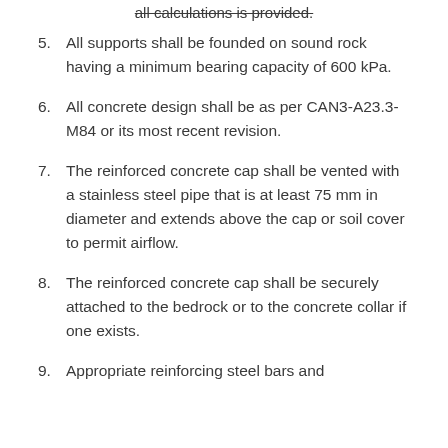all calculations is provided.
5. All supports shall be founded on sound rock having a minimum bearing capacity of 600 kPa.
6. All concrete design shall be as per CAN3-A23.3-M84 or its most recent revision.
7. The reinforced concrete cap shall be vented with a stainless steel pipe that is at least 75 mm in diameter and extends above the cap or soil cover to permit airflow.
8. The reinforced concrete cap shall be securely attached to the bedrock or to the concrete collar if one exists.
9. Appropriate reinforcing steel bars and